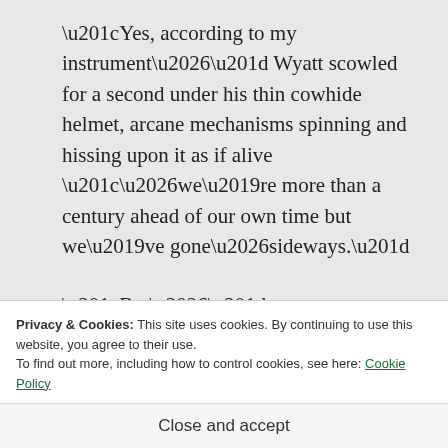“Yes, according to my instrument…” Wyatt scowled for a second under his thin cowhide helmet, arcane mechanisms spinning and hissing upon it as if alive “…we’re more than a century ahead of our own time but we’ve gone…sideways.”
“But…”
Privacy & Cookies: This site uses cookies. By continuing to use this website, you agree to their use.
To find out more, including how to control cookies, see here: Cookie Policy
Close and accept